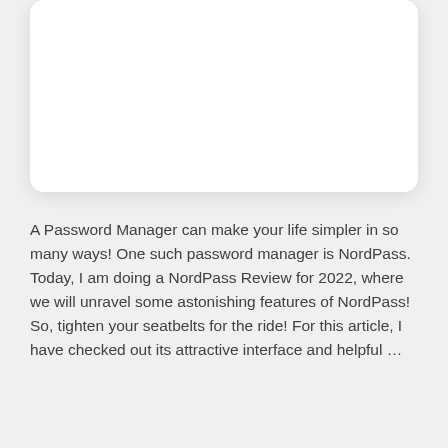[Figure (other): White rounded card/box element, empty, with subtle drop shadow on a light gray background]
A Password Manager can make your life simpler in so many ways! One such password manager is NordPass.  Today, I am doing a NordPass Review for 2022, where we will unravel some astonishing features of NordPass! So, tighten your seatbelts for the ride! For this article, I have checked out its attractive interface and helpful …